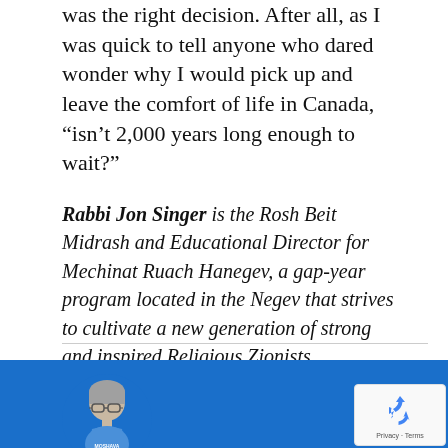was the right decision. After all, as I was quick to tell anyone who dared wonder why I would pick up and leave the comfort of life in Canada, “isn’t 2,000 years long enough to wait?”
Rabbi Jon Singer is the Rosh Beit Midrash and Educational Director for Mechinat Ruach Hanegev, a gap-year program located in the Negev that strives to cultivate a new generation of strong and inspired Religious Zionists.
[Figure (photo): Circular profile photo of a person wearing glasses and a blue shirt with 'MOSHAVA' text, set against a blue background]
[Figure (logo): reCAPTCHA widget showing the recycling-arrow logo with 'Privacy - Terms' text below]